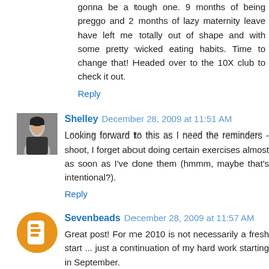gonna be a tough one. 9 months of being preggo and 2 months of lazy maternity leave have left me totally out of shape and with some pretty wicked eating habits. Time to change that! Headed over to the 10X club to check it out.
Reply
Shelley  December 28, 2009 at 11:51 AM
Looking forward to this as I need the reminders - shoot, I forget about doing certain exercises almost as soon as I've done them (hmmm, maybe that's intentional?).
Reply
Sevenbeads  December 28, 2009 at 11:57 AM
Great post! For me 2010 is not necessarily a fresh start ... just a continuation of my hard work starting in September.
I'm ready to get annoyed, however, at how busy my gym will be in January and how hard it will be to get a treadmill until all the firecrackers are burned out. That should happen